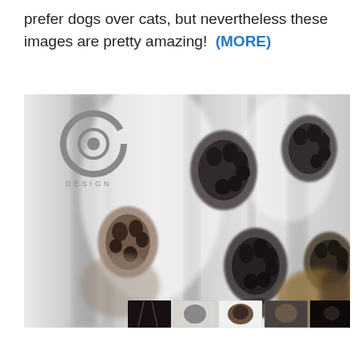prefer dogs over cats, but nevertheless these images are pretty amazing!  (MORE)
[Figure (photo): A dramatic black and white blurred photograph of a cat clinging to a smooth surface (possibly glass), showing its paws with claws extended from below/behind. A circular 'CO DESIGN' logo watermark is visible in the top-left of the image. Thumbnail strip of 6 smaller images visible at the bottom.]